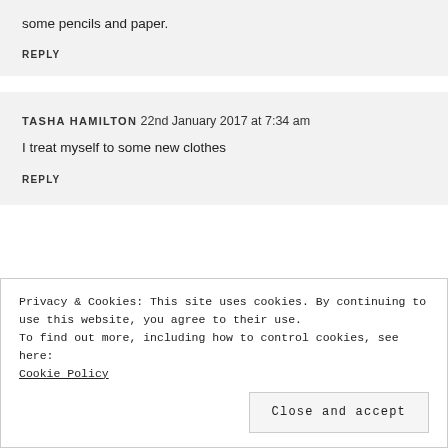some pencils and paper.
REPLY
TASHA HAMILTON 22nd January 2017 at 7:34 am
I treat myself to some new clothes
REPLY
Privacy & Cookies: This site uses cookies. By continuing to use this website, you agree to their use.
To find out more, including how to control cookies, see here:
Cookie Policy
Close and accept